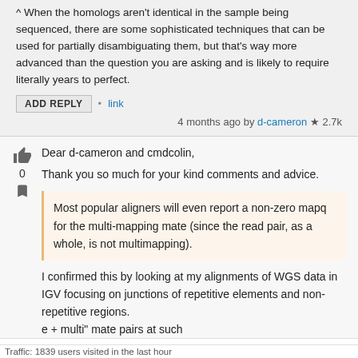^ When the homologs aren't identical in the sample being sequenced, there are some sophisticated techniques that can be used for partially disambiguating them, but that's way more advanced than the question you are asking and is likely to require literally years to perfect.
ADD REPLY • link
4 months ago by d-cameron ★ 2.7k
Dear d-cameron and cmdcolin,
Thank you so much for your kind comments and advice.
Most popular aligners will even report a non-zero mapq for the multi-mapping mate (since the read pair, as a whole, is not multimapping).
I confirmed this by looking at my alignments of WGS data in IGV focusing on junctions of repetitive elements and non-repetitive regions.
e + multi" mate pairs at such
Traffic: 1839 users visited in the last hour